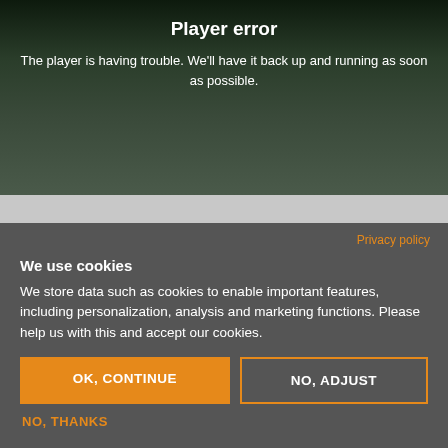[Figure (screenshot): Video player showing a dark forest/nature scene with a river or path, overlaid with a player error message on a dark background.]
Player error
The player is having trouble. We'll have it back up and running as soon as possible.
Privacy policy
We use cookies
We store data such as cookies to enable important features, including personalization, analysis and marketing functions. Please help us with this and accept our cookies.
OK, CONTINUE
NO, ADJUST
NO, THANKS